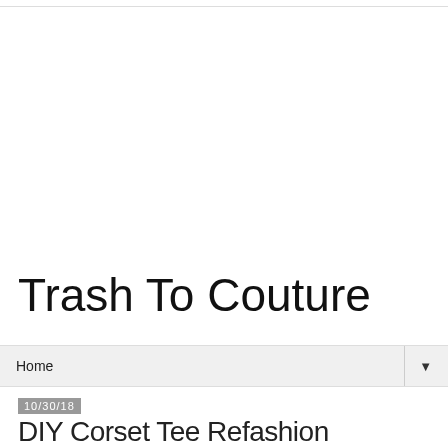Trash To Couture
Home ▼
10/30/18
DIY Corset Tee Refashion